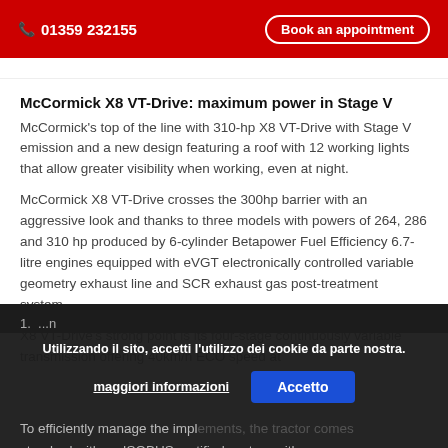📞 01359 232155   Book an appointment
McCormick X8 VT-Drive: maximum power in Stage V
McCormick's top of the line with 310-hp X8 VT-Drive with Stage V emission and a new design featuring a roof with 12 working lights that allow greater visibility when working, even at night.
McCormick X8 VT-Drive crosses the 300hp barrier with an aggressive look and thanks to three models with powers of 264, 286 and 310 hp produced by 6-cylinder Betapower Fuel Efficiency 6.7-litre engines equipped with eVGT electronically controlled variable geometry exhaust line and SCR exhaust gas post-treatment system.
X8 VT-Drive's strong point is its four-stage continuously variable transmission offering 40km/h ECO speed at
To efficiently manage the implements, the tractor comes standard with an ISOBUS certified system with a
Utilizzando il sito, accetti l'utilizzo dei cookie da parte nostra.
maggiori informazioni
Accetto